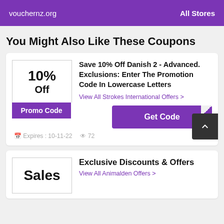vouchernz.org   All Stores
You Might Also Like These Coupons
10% Off
Promo Code
Save 10% Off Danish 2 - Advanced. Exclusions: Enter The Promotion Code In Lowercase Letters
View All Strokes International Offers >
Get Code
Expires : 10-11-22  72
Exclusive Discounts & Offers
Sales
View All Animalden Offers >